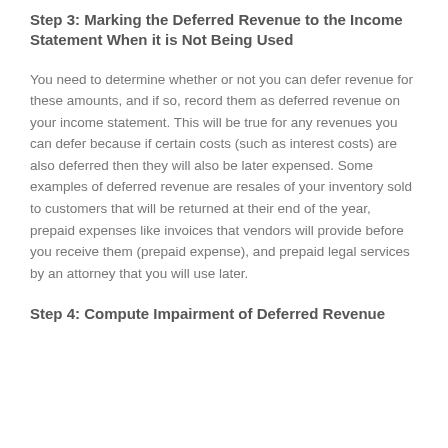Step 3: Marking the Deferred Revenue to the Income Statement When it is Not Being Used
You need to determine whether or not you can defer revenue for these amounts, and if so, record them as deferred revenue on your income statement. This will be true for any revenues you can defer because if certain costs (such as interest costs) are also deferred then they will also be later expensed. Some examples of deferred revenue are resales of your inventory sold to customers that will be returned at their end of the year, prepaid expenses like invoices that vendors will provide before you receive them (prepaid expense), and prepaid legal services by an attorney that you will use later.
Step 4: Compute Impairment of Deferred Revenue